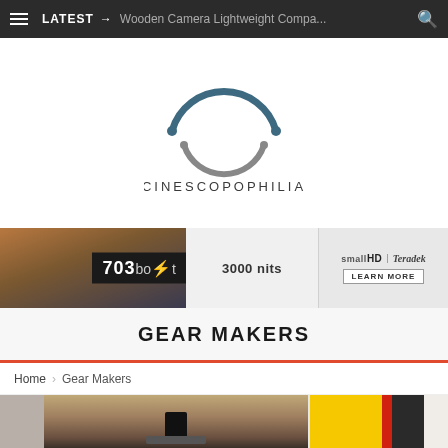≡  LATEST →  Wooden Camera Lightweight Compa...  🔍
[Figure (logo): Cinescopophilia circular arc logo mark in grey-blue with the wordmark CINESCOPOPHILIA below in dark grey spaced letters]
[Figure (infographic): SmallHD 703 Bolt advertisement banner showing camera monitor with '703 BOLT' text, '3000 nits' text, SmallHD and Teradek logos, and LEARN MORE button]
GEAR MAKERS
Home  >  Gear Makers
[Figure (photo): Two partial article card thumbnails: left shows camera gear with a small black handle/rail on a yellow taxi background, right shows yellow and red graphic with black element]